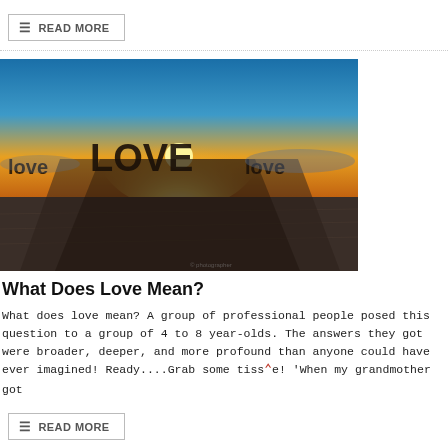READ MORE
[Figure (photo): Photograph of large 3D letters spelling 'loveLOVElove' on a flat desert landscape at sunset, with long shadows cast behind the letters and a bright sun setting on the horizon behind them.]
What Does Love Mean?
What does love mean? A group of professional people posed this question to a group of 4 to 8 year-olds. The answers they got were broader, deeper, and more profound than anyone could have ever imagined! Ready....Grab some tissue! 'When my grandmother got
READ MORE